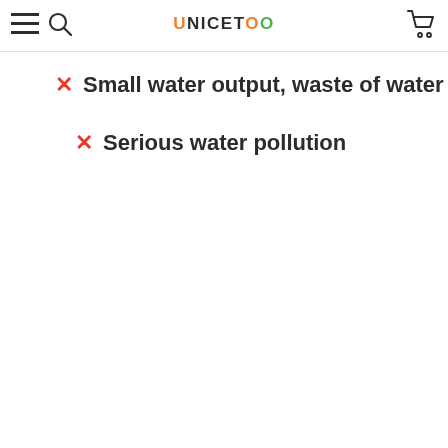UNICETOO
✗ Small water output, waste of water
✗ Serious water pollution